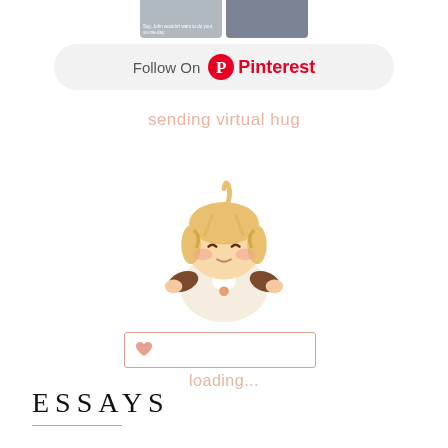[Figure (screenshot): Pinterest follow button bar showing two small anime/photo thumbnails at top and a rounded gray Follow On Pinterest button]
[Figure (illustration): Anime chibi character giving a virtual hug with text 'sending virtual hug' above and a loading bar with a heart icon and 'loading...' below]
ESSAYS